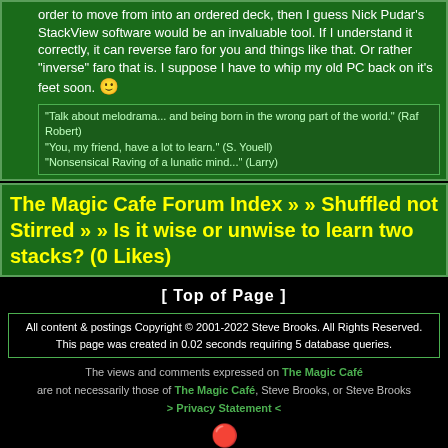order to move from into an ordered deck, then I guess Nick Pudar's StackView software would be an invaluable tool. If I understand it correctly, it can reverse faro for you and things like that. Or rather "inverse" faro that is. I suppose I have to whip my old PC back on it's feet soon. 🙂
"Talk about melodrama... and being born in the wrong part of the world." (Raf Robert)
"You, my friend, have a lot to learn." (S. Youell)
"Nonsensical Raving of a lunatic mind..." (Larry)
The Magic Cafe Forum Index » » Shuffled not Stirred » » Is it wise or unwise to learn two stacks? (0 Likes)
[ Top of Page ]
All content & postings Copyright © 2001-2022 Steve Brooks. All Rights Reserved.
This page was created in 0.02 seconds requiring 5 database queries.
The views and comments expressed on The Magic Café are not necessarily those of The Magic Café, Steve Brooks, or Steve Brooks > Privacy Statement <
BILLIONS AND BILLIONS S